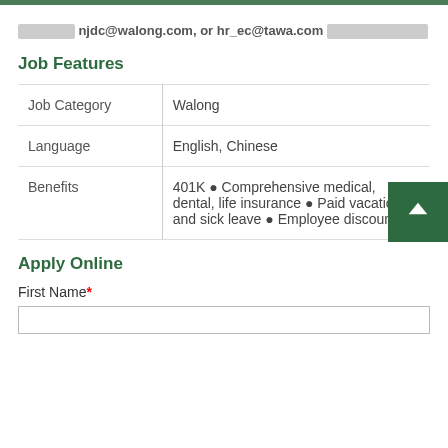██████ njdc@walong.com, or hr_ec@tawa.com ███████████
Job Features
| Job Category | Walong |
| Language | English, Chinese |
| Benefits | 401K ● Comprehensive medical, dental, life insurance ● Paid vacations and sick leave ● Employee discount |
Apply Online
First Name*